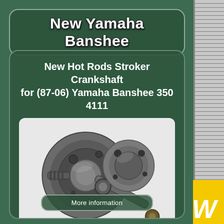New Yamaha Banshee
New Hot Rods Stroker Crankshaft for (87-06) Yamaha Banshee 350 4111
[Figure (photo): Photo of a Hot Rods stroker crankshaft assembly with connecting rod and geared shaft end, with eBay watermark]
More information